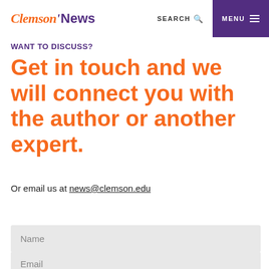Clemson'News  SEARCH  MENU
WANT TO DISCUSS?
Get in touch and we will connect you with the author or another expert.
Or email us at news@clemson.edu
Name
Email
Feedback